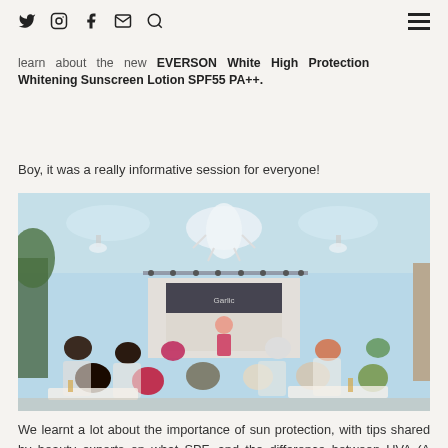Social media icons (Twitter, Instagram, Facebook, Email, Search) and hamburger menu
learn about the new EVERSON White High Protection Whitening Sunscreen Lotion SPF55 PA++.
Boy, it was a really informative session for everyone!
[Figure (photo): Indoor event photo showing attendees seated at white ornate chairs and tables, facing a presentation stage with a speaker in a pink dress. The venue has large decorative chandeliers and pendant lights, with plants on the left side and a branded backdrop on the stage.]
We learnt a lot about the importance of sun protection, with tips shared by beauty experts on what SPF, and the difference between UVA (A stands for aging) and UVB (B stands for burning) and the importance of...